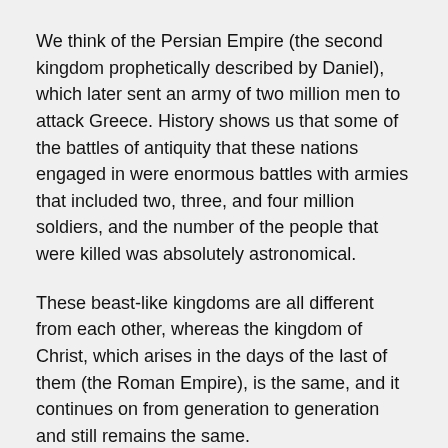We think of the Persian Empire (the second kingdom prophetically described by Daniel), which later sent an army of two million men to attack Greece. History shows us that some of the battles of antiquity that these nations engaged in were enormous battles with armies that included two, three, and four million soldiers, and the number of the people that were killed was absolutely astronomical.
These beast-like kingdoms are all different from each other, whereas the kingdom of Christ, which arises in the days of the last of them (the Roman Empire), is the same, and it continues on from generation to generation and still remains the same.
The truth is much simpler than error; goodness is simpler than evil. If you want to see something that is extraordinarily complex, try to follow the plot line of a